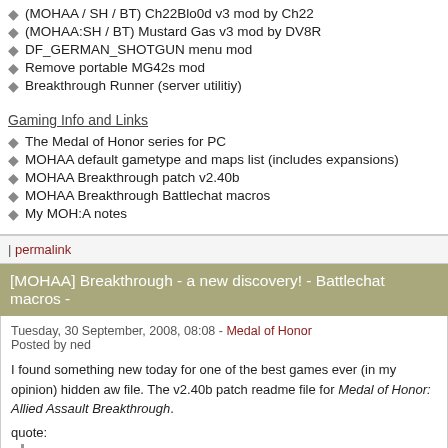(MOHAA / SH / BT) Ch22Blo0d v3 mod by Ch22
(MOHAA:SH / BT) Mustard Gas v3 mod by DV8R
DF_GERMAN_SHOTGUN menu mod
Remove portable MG42s mod
Breakthrough Runner (server utilitiy)
Gaming Info and Links
The Medal of Honor series for PC
MOHAA default gametype and maps list (includes expansions)
MOHAA Breakthrough patch v2.40b
MOHAA Breakthrough Battlechat macros
My MOH:A notes
| permalink
[MOHAA] Breakthrough - a new discovery! - Battlechat macros -
Tuesday, 30 September, 2008, 08:08 - Medal of Honor
Posted by ned
I found something new today for one of the best games ever (in my opinion) hidden aw... file. The v2.40b patch readme file for Medal of Honor: Allied Assault Breakthrough.
quote:
As an aid to players trying to coordinate team play, several macros have been b... the chat parser for Breakthrough.